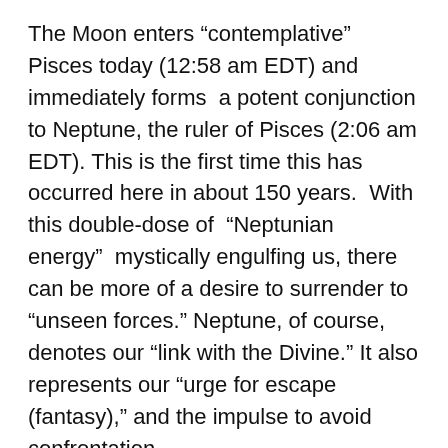The Moon enters “contemplative” Pisces today (12:58 am EDT) and immediately forms a potent conjunction to Neptune, the ruler of Pisces (2:06 am EDT). This is the first time this has occurred here in about 150 years. With this double-dose of “Neptunian energy” mystically engulfing us, there can be more of a desire to surrender to “unseen forces.” Neptune, of course, denotes our “link with the Divine.” It also represents our “urge for escape (fantasy),” and the impulse to avoid confrontation.
Ironically, with this more “retreating” Pisces Moon backdrop, we also have the more “high-drama” Venus square Pluto aspect (3:19 am EDT), which is, potentially, a more conflicting, confrontational type energy, that is linked with “depth of feeling” and “all-consuming” passion. Venus, again, rules love and relationships, and money and what